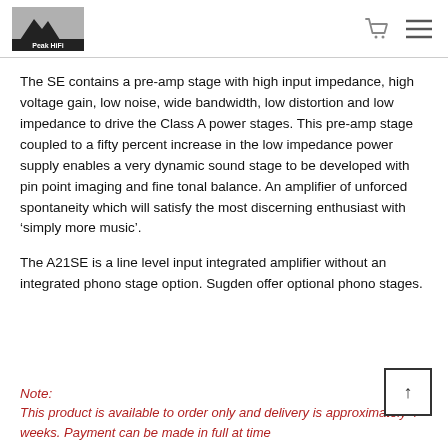Peak HiFi logo with cart and menu icons
The SE contains a pre-amp stage with high input impedance, high voltage gain, low noise, wide bandwidth, low distortion and low impedance to drive the Class A power stages. This pre-amp stage coupled to a fifty percent increase in the low impedance power supply enables a very dynamic sound stage to be developed with pin point imaging and fine tonal balance. An amplifier of unforced spontaneity which will satisfy the most discerning enthusiast with ‘simply more music’.
The A21SE is a line level input integrated amplifier without an integrated phono stage option. Sugden offer optional phono stages.
Note:
This product is available to order only and delivery is approximately 4 weeks. Payment can be made in full at time